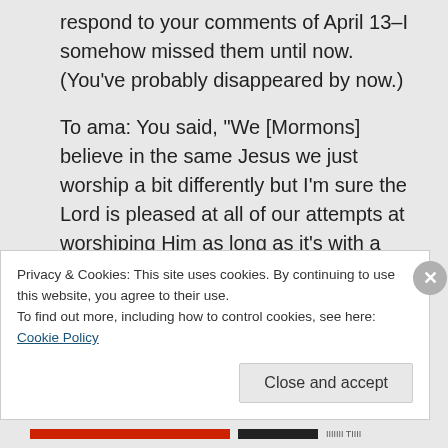respond to your comments of April 13–I somehow missed them until now. (You've probably disappeared by now.)
To ama: You said, “We [Mormons] believe in the same Jesus we just worship a bit differently but I’m sure the Lord is pleased at all of our attempts at worshiping Him as long as it’s with a sincere and honest heart.
Privacy & Cookies: This site uses cookies. By continuing to use this website, you agree to their use.
To find out more, including how to control cookies, see here: Cookie Policy
Close and accept